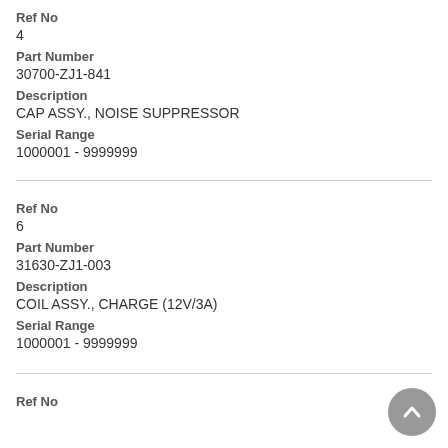Ref No
4
Part Number
30700-ZJ1-841
Description
CAP ASSY., NOISE SUPPRESSOR
Serial Range
1000001 - 9999999
Ref No
6
Part Number
31630-ZJ1-003
Description
COIL ASSY., CHARGE (12V/3A)
Serial Range
1000001 - 9999999
Ref No